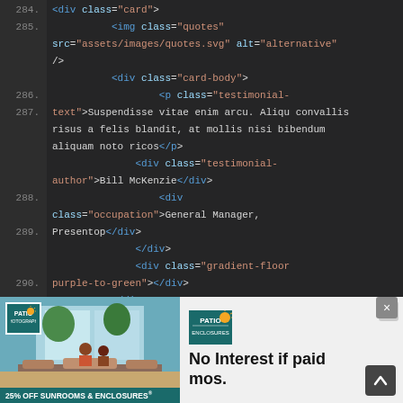[Figure (screenshot): Code editor screenshot showing HTML code lines 284-297 with dark theme. Lines show div and img tags with class attributes for card, quotes, card-body, testimonial-text, testimonial-author, occupation, gradient-floor purple-to-green elements. Text content includes 'Suspendisse vitae enim arcu. Aliqu convallis risus a felis blandit, at mollis nisi bibendum aliquam noto ricos', 'Bill McKenzie', 'General Manager, Presentop'.]
[Figure (screenshot): Advertisement banner for Patio Enclosures showing a patio/sunroom photo on the left with '25% OFF SUNROOMS & ENCLOSURES' text, and on the right a white section with Patio Enclosures logo and text 'No Interest if paid mos.' with a close button X and scroll-to-top arrow button.]